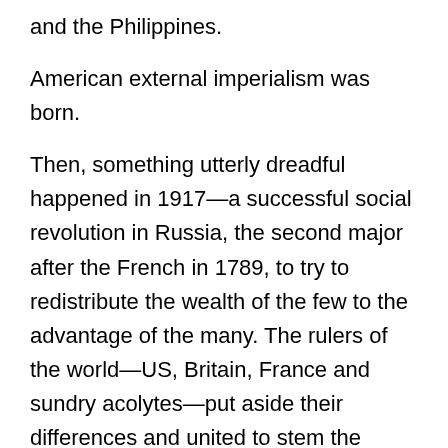and the Philippines.
American external imperialism was born.
Then, something utterly dreadful happened in 1917—a successful social revolution in Russia, the second major after the French in 1789, to try to redistribute the wealth of the few to the advantage of the many. The rulers of the world—US, Britain, France and sundry acolytes—put aside their differences and united to stem the awful threat of popular democracy rising and spreading. They invaded Russia, fomented a civil war, funding and arming the counter-revolutionary forces, failed, and tried again in 1939. But Hitler's war of extermination on the USSR ended in a spectacular victory for